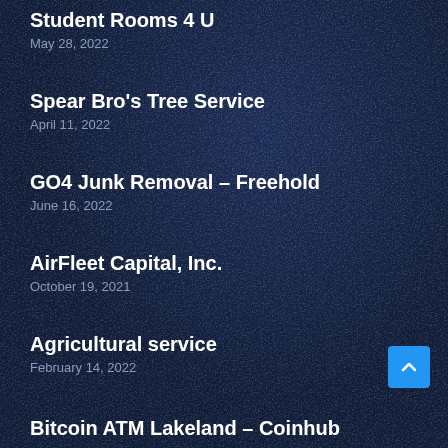Student Rooms 4 U
May 28, 2022
Spear Bro's Tree Service
April 11, 2022
GO4 Junk Removal – Freehold
June 16, 2022
AirFleet Capital, Inc.
October 19, 2021
Agricultural service
February 14, 2022
Bitcoin ATM Lakeland – Coinhub